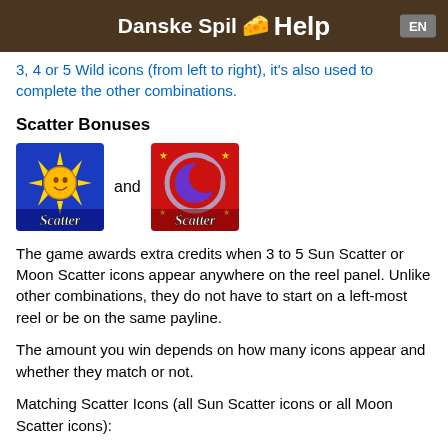Danske Spil 🧀 Help EN
3, 4 or 5 Wild icons (from left to right), it's also used to complete the other combinations.
Scatter Bonuses
[Figure (illustration): Two scatter slot game icons side by side: a Sun Scatter icon on a blue background and a Moon Scatter icon on a red background, with 'and' text between them.]
The game awards extra credits when 3 to 5 Sun Scatter or Moon Scatter icons appear anywhere on the reel panel. Unlike other combinations, they do not have to start on a left-most reel or be on the same payline.
The amount you win depends on how many icons appear and whether they match or not.
Matching Scatter Icons (all Sun Scatter icons or all Moon Scatter icons):
5 icons: 50 coins per credit bet awarded